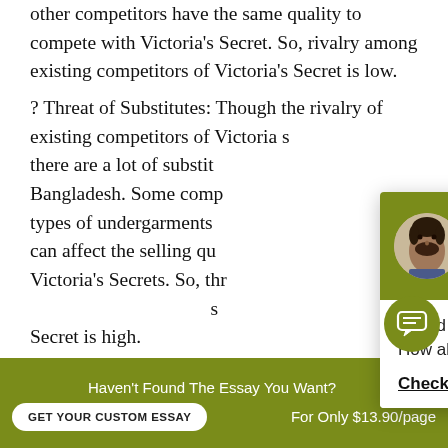other competitors have the same quality to compete with Victoria's Secret. So, rivalry among existing competitors of Victoria's Secret is low.
? Threat of Substitutes: Though the rivalry of existing competitors of Victoria s[ecret is low,] there are a lot of substit[utes from] Bangladesh. Some comp[anies make] types of undergarments [which] can affect the selling qu[ality of] Victoria's Secrets. So, thr[eat of] Secret is high.
? Threat of New Entrant[s: Market is] saturated now in Bangladesh for lingerie and
[Figure (screenshot): Chat popup with avatar of Alejandro, header 'Hi! I'm Alejandro!' in olive/dark yellow background, body text 'Would you like to get a custom essay? How about receiving a customized one?' with 'Check it out' link underlined.]
Haven't Found The Essay You Want?
GET YOUR CUSTOM ESSAY
For Only $13.90/page